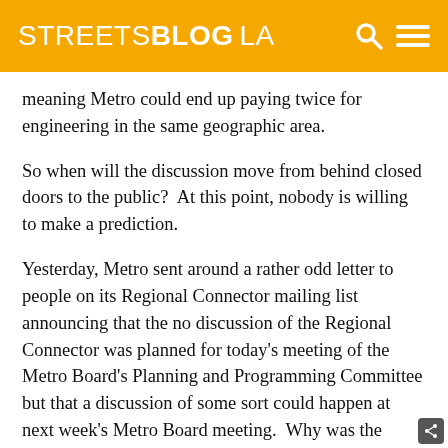STREETSBLOG LA
meaning Metro could end up paying twice for engineering in the same geographic area.
So when will the discussion move from behind closed doors to the public?  At this point, nobody is willing to make a prediction.
Yesterday, Metro sent around a rather odd letter to people on its Regional Connector mailing list announcing that the no discussion of the Regional Connector was planned for today's meeting of the Metro Board's Planning and Programming Committee but that a discussion of some sort could happen at next week's Metro Board meeting.  Why was the email odd?  For starters, the Planning and Programming Committee...